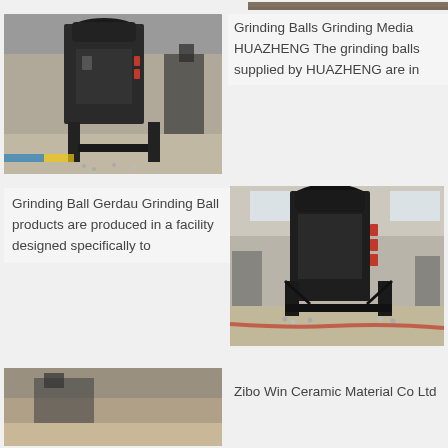[Figure (photo): Top partial image strip — industrial machinery, dark colored, factory background]
[Figure (photo): Industrial grinding ball machine in a factory — large dark metal machine with structural frame, multiple similar machines visible in background]
Grinding Balls Grinding Media HUAZHENG The grinding balls supplied by HUAZHENG are in
Grinding Ball Gerdau Grinding Ball products are produced in a facility designed specifically to
[Figure (photo): Close-up of a single large industrial grinding ball machine in factory, dark metal, structural framework visible, factory floor with scattered small balls]
[Figure (photo): Partial bottom image — industrial conveyor or machinery, factory setting]
Zibo Win Ceramic Material Co Ltd